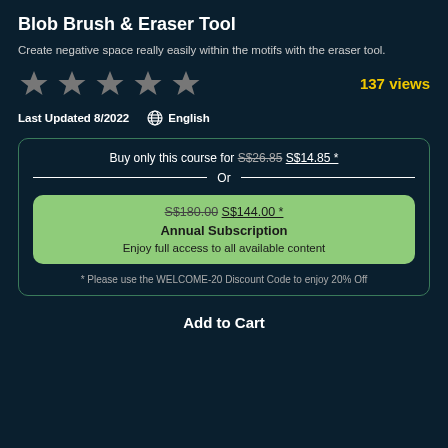Blob Brush & Eraser Tool
Create negative space really easily within the motifs with the eraser tool.
[Figure (other): Five grey star rating icons with '137 views' in yellow text to the right]
Last Updated 8/2022   English
Buy only this course for S$26.85 S$14.85 * Or S$180.00 S$144.00 * Annual Subscription Enjoy full access to all available content * Please use the WELCOME-20 Discount Code to enjoy 20% Off
Add to Cart